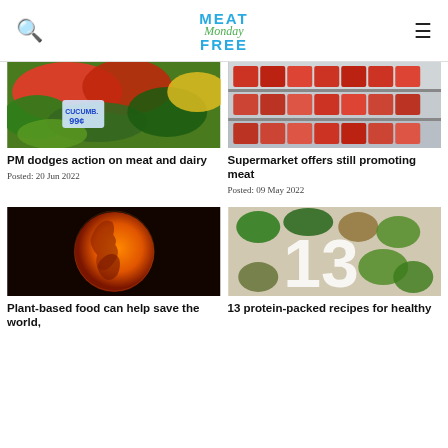Meat Free Monday
[Figure (photo): Vegetables at a market stall with a price sign reading 99 cents]
[Figure (photo): Supermarket refrigerated shelves with packaged meat products]
PM dodges action on meat and dairy
Posted: 20 Jun 2022
Supermarket offers still promoting meat
Posted: 09 May 2022
[Figure (photo): Orange-lit globe showing the Americas against a dark background]
[Figure (photo): Overhead shot of plant-based foods including vegetables, grains, mushrooms with large number 13 overlaid]
Plant-based food can help save the world,
13 protein-packed recipes for healthy